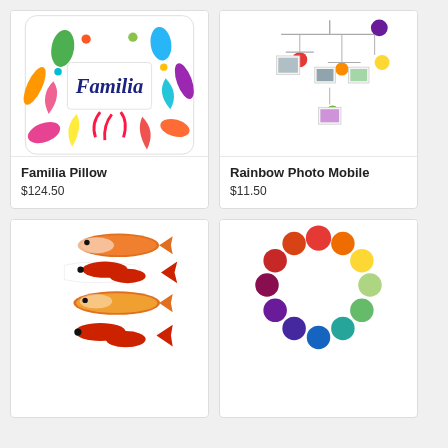[Figure (photo): Familia decorative pillow with colorful otomi embroidery pattern and 'Familia' text in blue cursive]
Familia Pillow
$124.50
[Figure (photo): Rainbow Photo Mobile with colored balls and hanging photo clips on wire frame]
Rainbow Photo Mobile
$11.50
[Figure (photo): Set of four ceramic koi fish figurines in red and white]
[Figure (photo): Rainbow colored wooden ball ring toy with multicolored spheres arranged in a circle]